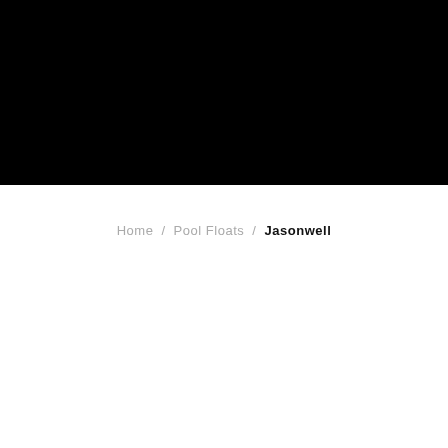[Figure (other): Black rectangular banner/header area filling the top portion of the page]
Home  /  Pool Floats  /  Jasonwell